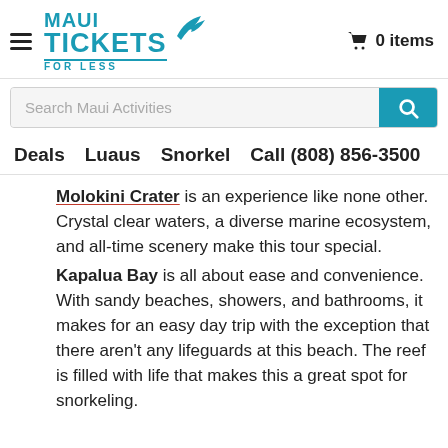MAUI TICKETS FOR LESS — 0 items
Search Maui Activities
Deals   Luaus   Snorkel   Call (808) 856-3500
Molokini Crater is an experience like none other. Crystal clear waters, a diverse marine ecosystem, and all-time scenery make this tour special.
Kapalua Bay is all about ease and convenience. With sandy beaches, showers, and bathrooms, it makes for an easy day trip with the exception that there aren't any lifeguards at this beach. The reef is filled with life that makes this a great spot for snorkeling.